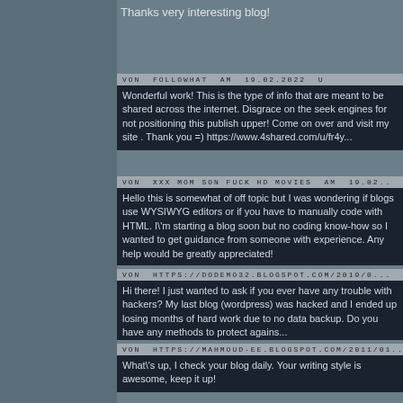Thanks very interesting blog!
VON FOLLOWHAT AM 19.02.2022
Wonderful work! This is the type of info that are meant to be shared across the internet. Disgrace on the seek engines for not positioning this publish upper! Come on over and visit my site . Thank you =) https://www.4shared.com/u/fr4y...
VON XXX MOM SON FUCK HD MOVIES AM 19.02...
Hello this is somewhat of off topic but I was wondering if blogs use WYSIWYG editors or if you have to manually code with HTML. I'm starting a blog soon but no coding know-how so I wanted to get guidance from someone with experience. Any help would be greatly appreciated!
VON HTTPS://DODEMO32.BLOGSPOT.COM/2019/0...
Hi there! I just wanted to ask if you ever have any trouble with hackers? My last blog (wordpress) was hacked and I ended up losing months of hard work due to no data backup. Do you have any methods to protect agains...
VON HTTPS://MAHMOUD-EE.BLOGSPOT.COM/2011/01...
What's up, I check your blog daily. Your writing style is awesome, keep it up!
VON AM 19.02.2022 UM...
I have been browsung on-line greater than 3 hours these days, but I by no means found any attention-grabbing article like you. It's lovely price enough for me. In my view, if alll webmasters and bloggers ma... internet will likely